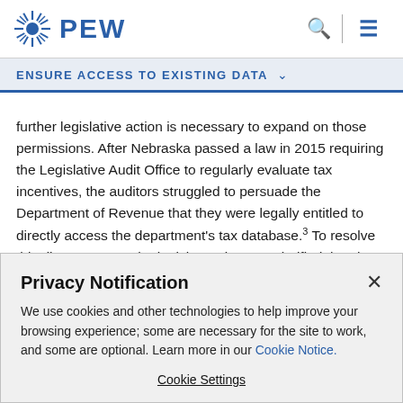PEW
ENSURE ACCESS TO EXISTING DATA
further legislative action is necessary to expand on those permissions. After Nebraska passed a law in 2015 requiring the Legislative Audit Office to regularly evaluate tax incentives, the auditors struggled to persuade the Department of Revenue that they were legally entitled to directly access the department's tax database.³ To resolve this disagreement, the legislature in 2016 clarified that the
Privacy Notification
We use cookies and other technologies to help improve your browsing experience; some are necessary for the site to work, and some are optional. Learn more in our Cookie Notice.
Cookie Settings